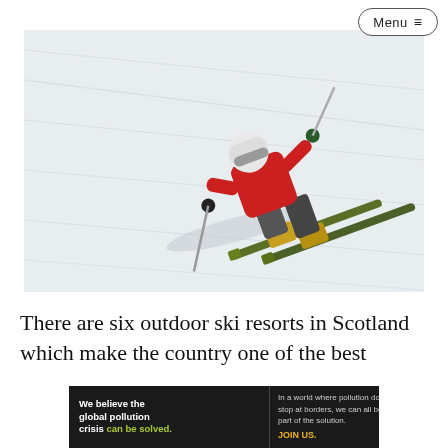Menu ≡
[Figure (photo): A skier in a red jacket and white helmet performs a dynamic turn on a snowy slope, skis spraying snow, poles extended outward.]
There are six outdoor ski resorts in Scotland which make the country one of the best
[Figure (infographic): Advertisement banner: Pure Earth. Left section (dark background): 'We believe the global pollution crisis can be solved.' Middle section (dark background): 'In a world where pollution doesn't stop at borders, we can all be part of the solution. JOIN US.' Right section (white background): Pure Earth logo with orange diamond and leaf icon, text 'PURE EARTH'.]